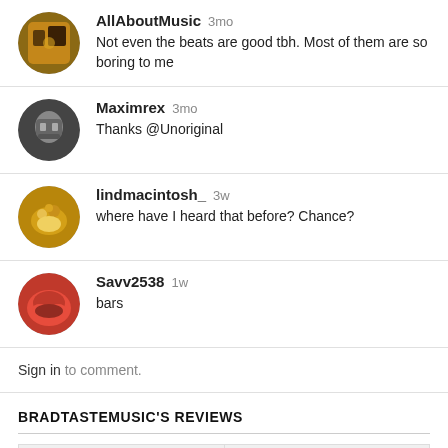AllAboutMusic 3mo
Not even the beats are good tbh. Most of them are so boring to me
Maximrex 3mo
Thanks @Unoriginal
lindmacintosh_ 3w
where have I heard that before? Chance?
Savv2538 1w
bars
Sign in to comment.
BRADTASTEMUSIC'S REVIEWS
[Figure (other): Navigation arrows for reviews: left arrow (<<) and right arrow (>>)]